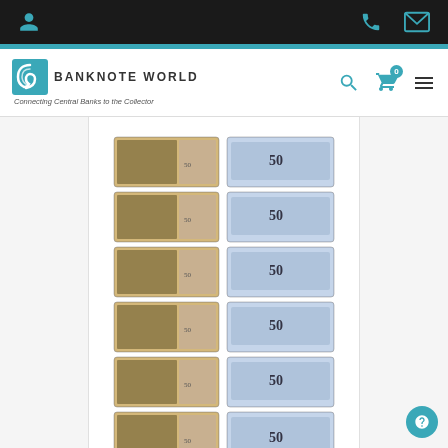Banknote World — top navigation bar with user, phone, and email icons
[Figure (logo): Banknote World logo with spiral globe icon and tagline: Connecting Central Banks to the Collector]
[Figure (photo): Grid of 6 pairs of Arnstadt 50 Pfennig Notgeld banknotes showing front and back, 1921]
Arnstadt 50 Pfennig 6 Pieces Notgeld Set, 1921, Mehl #43.3, UNC
As low as